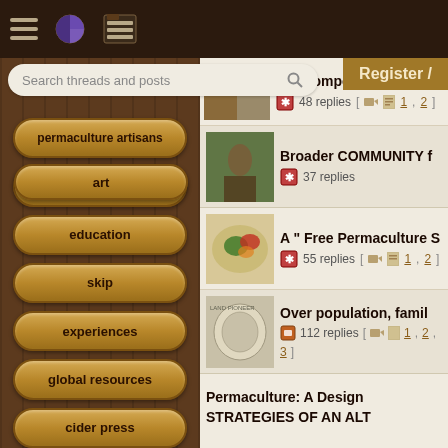Permaculture forums website header with hamburger menu, pie chart icon, and list icon
art
Search threads and posts
Register /
F*** composting toilet - 48 replies [1, 2]
permaculture artisans
Broader COMMUNITY f - 37 replies
regional
A " Free Permaculture - 55 replies [1, 2]
education
Over population, famil - 112 replies [1, 2, 3]
skip
Permaculture: A Design STRATEGIES OF AN ALT
experiences
global resources
cider press